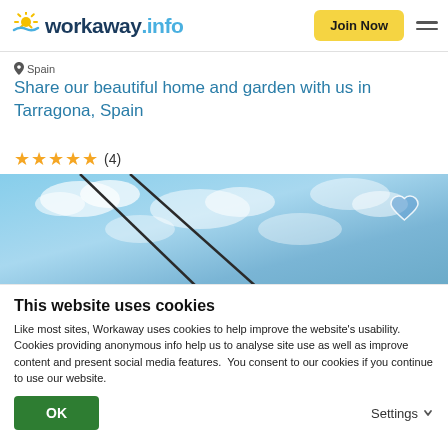workaway.info — Join Now
Spain
Share our beautiful home and garden with us in Tarragona, Spain
★★★★★ (4)
[Figure (photo): Outdoor photo showing blue sky with white clouds and dark diagonal cables or wires crossing the frame. A heart icon is overlaid in the upper right of the image.]
This website uses cookies
Like most sites, Workaway uses cookies to help improve the website's usability. Cookies providing anonymous info help us to analyse site use as well as improve content and present social media features.  You consent to our cookies if you continue to use our website.
OK
Settings